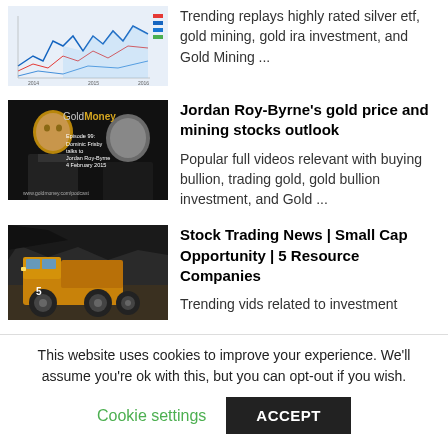[Figure (screenshot): Stock chart showing trending silver etf and gold mining related charts]
Trending replays highly rated silver etf, gold mining, gold ira investment, and Gold Mining ...
[Figure (photo): GoldMoney podcast thumbnail with Dominic Frisby and Jordan Roy-Byrne, Episode 99, 4 February 2015]
Jordan Roy-Byrne's gold price and mining stocks outlook
Popular full videos relevant with buying bullion, trading gold, gold bullion investment, and Gold ...
[Figure (photo): Mining truck in a dark mine setting]
Stock Trading News | Small Cap Opportunity | 5 Resource Companies
Trending vids related to investment
This website uses cookies to improve your experience. We'll assume you're ok with this, but you can opt-out if you wish.